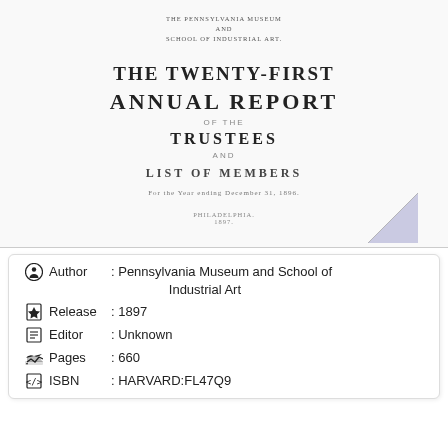THE PENNSYLVANIA MUSEUM AND SCHOOL OF INDUSTRIAL ART.
THE TWENTY-FIRST ANNUAL REPORT OF THE TRUSTEES AND LIST OF MEMBERS For the Year ending December 31, 1896.
PHILADELPHIA. 1897.
| Field | Value |
| --- | --- |
| Author | : Pennsylvania Museum and School of Industrial Art |
| Release | : 1897 |
| Editor | : Unknown |
| Pages | : 660 |
| ISBN | : HARVARD:FL47Q9 |